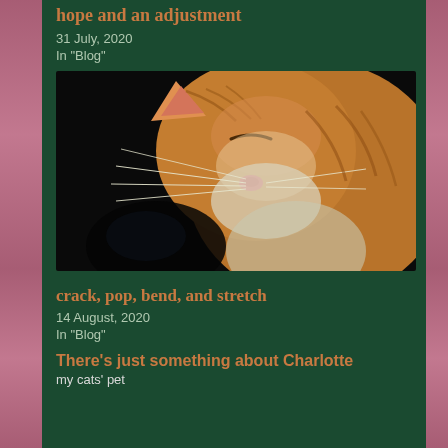hope and an adjustment
31 July, 2020
In "Blog"
[Figure (photo): Close-up photograph of an orange tabby cat's face in profile, showing whiskers, closed eyes, pink nose, and white chest fur against a dark background.]
crack, pop, bend, and stretch
14 August, 2020
In "Blog"
There’s just something about Charlotte
my cats’ pet